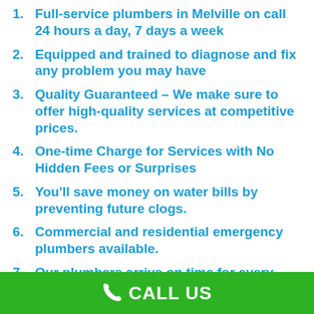1. Full-service plumbers in Melville on call 24 hours a day, 7 days a week
2. Equipped and trained to diagnose and fix any problem you may have
3. Quality Guaranteed – We make sure to offer high-quality services at competitive prices.
4. One-time Charge for Services with No Hidden Fees or Surprises
5. You'll save money on water bills by preventing future clogs.
6. Commercial and residential emergency plumbers available.
7. Our plumbers arrive on time for every appointment, with no exceptions
CALL US